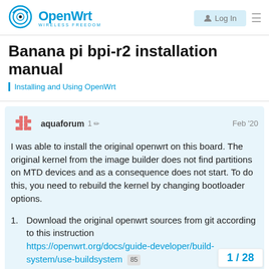OpenWrt WIRELESS FREEDOM | Log In
Banana pi bpi-r2 installation manual
Installing and Using OpenWrt
aquaforum  1  Feb '20
I was able to install the original openwrt on this board. The original kernel from the image builder does not find partitions on MTD devices and as a consequence does not start. To do this, you need to rebuild the kernel by changing bootloader options.
Download the original openwrt sources from git according to this instruction https://openwrt.org/docs/guide-developer/build-system/use-buildsystem 85
Configure it in the minimum configuration and choose the type of our board correctly.
1 / 28